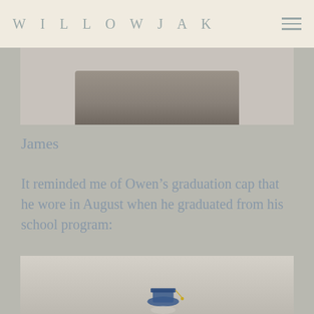WILLOWJAK
[Figure (photo): Partial photo showing legs of a person sitting, wearing white socks and shoes, viewed from below on wooden stairs or bench]
James
It reminded me of Owen’s graduation cap that he wore in August when he graduated from his school program:
[Figure (photo): Photo of a person in graduation attire with a blue cap, standing against a light-colored wall]